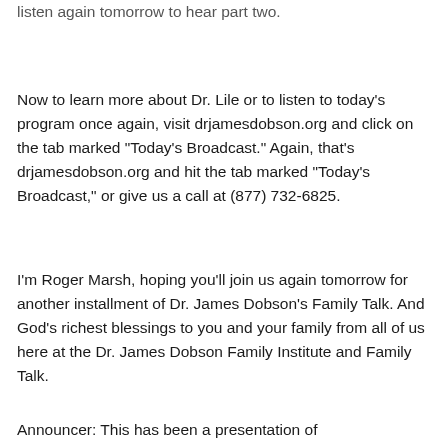listen again tomorrow to hear part two.
Now to learn more about Dr. Lile or to listen to today's program once again, visit drjamesdobson.org and click on the tab marked "Today's Broadcast." Again, that's drjamesdobson.org and hit the tab marked "Today's Broadcast," or give us a call at (877) 732-6825.
I'm Roger Marsh, hoping you'll join us again tomorrow for another installment of Dr. James Dobson's Family Talk. And God's richest blessings to you and your family from all of us here at the Dr. James Dobson Family Institute and Family Talk.
Announcer: This has been a presentation of